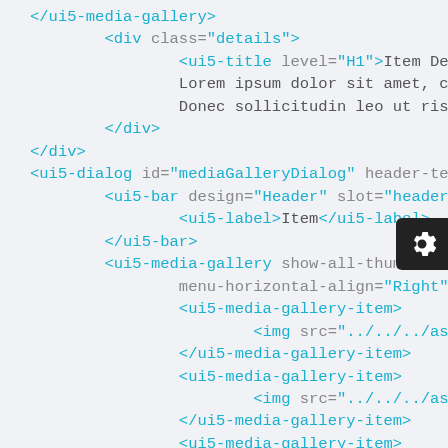[Figure (screenshot): Code editor screenshot showing XML/HTML markup with UI5 web components including ui5-media-gallery, div, ui5-title, ui5-dialog, ui5-bar, ui5-label, and ui5-media-gallery-item elements. A dark settings gear icon button appears in the top-right area.]